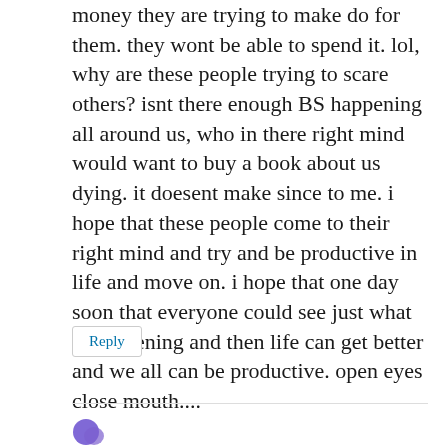money they are trying to make do for them. they wont be able to spend it. lol, why are these people trying to scare others? isnt there enough BS happening all around us, who in there right mind would want to buy a book about us dying. it doesent make since to me. i hope that these people come to their right mind and try and be productive in life and move on. i hope that one day soon that everyone could see just what is happening and then life can get better and we all can be productive. open eyes close mouth....
Reply